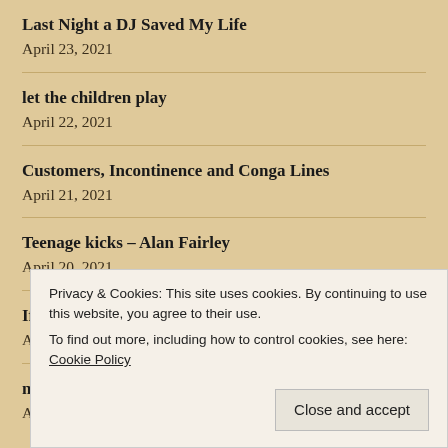Last Night a DJ Saved My Life
April 23, 2021
let the children play
April 22, 2021
Customers, Incontinence and Conga Lines
April 21, 2021
Teenage kicks – Alan Fairley
April 20, 2021
If You're Going To Star Alfresco
April 19, 2021
my 1970s teen-angst diary (part 2)
April 18, 2021
Privacy & Cookies: This site uses cookies. By continuing to use this website, you agree to their use.
To find out more, including how to control cookies, see here: Cookie Policy
Close and accept